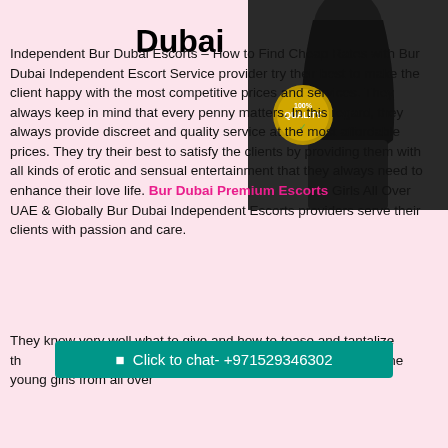Dubai
[Figure (photo): Woman in black outfit with 100% Quality gold seal badge overlay]
Independent Bur Dubai Escorts – How to Find Cheap Rates with Bur Dubai Independent Escort Service provider try their best to make the client happy with the most competitive prices and services. They always keep in mind that every penny matters. In this regard, they always provide discreet and quality service at the most affordable prices. They try their best to satisfy the clients by providing them with all kinds of erotic and sensual entertainment that they always need to enhance their love life. Bur Dubai Premium Escorts Girls All Over UAE & Globally Bur Dubai Independent Escorts providers serve their clients with passion and care.
They know very well what to give and how to tease and tantalize their clients and make them crave for more and desire for more. Most of the young girls from all over
Click to chat- +971529346302